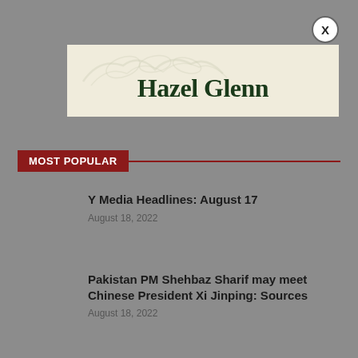[Figure (logo): Hazel Glenn logo banner with decorative leaf/plant watermark on cream background]
MOST POPULAR
Y Media Headlines: August 17
August 18, 2022
Pakistan PM Shehbaz Sharif may meet Chinese President Xi Jinping: Sources
August 18, 2022